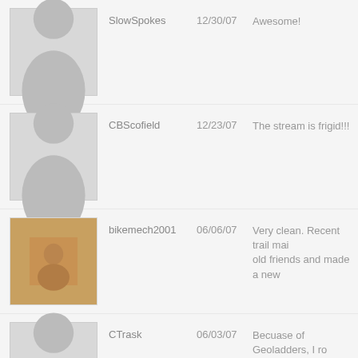SlowSpokes | 12/30/07 | Awesome!
CBScofield | 12/23/07 | The stream is frigid!!!
bikemech2001 | 06/06/07 | Very clean. Recent trail mai... old friends and made a new...
CTrask | 06/03/07 | Becuase of Geoladders, I ro... I hadn't seen in 30 years. Gr... son and friend Chris.
evilbawb | 06/03/07 | lots of bushes in the beginni...
mark1890 | 06/03/07 | single track in great shape.fi... geoladders!